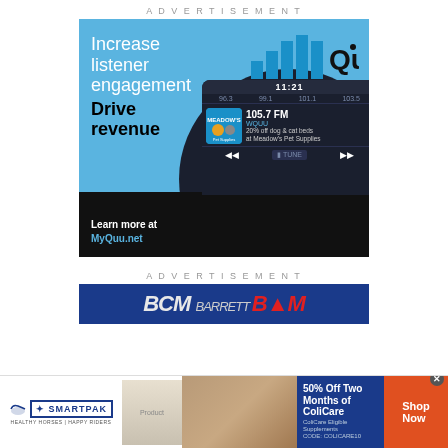ADVERTISEMENT
[Figure (infographic): Quu advertisement: 'Increase listener engagement Drive revenue. Learn more at MyQuu.net' with a car radio screen showing 105.7 FM WQUU, 20% off dog & cat beds at Meadow's Pet Supplies]
ADVERTISEMENT
[Figure (infographic): Barrett-Jackson auction advertisement banner]
[Figure (infographic): SmartPak bottom banner advertisement: 50% Off Two Months of ColiCare, ColiCare Eligible Supplements, CODE: COLICARE10, Shop Now]